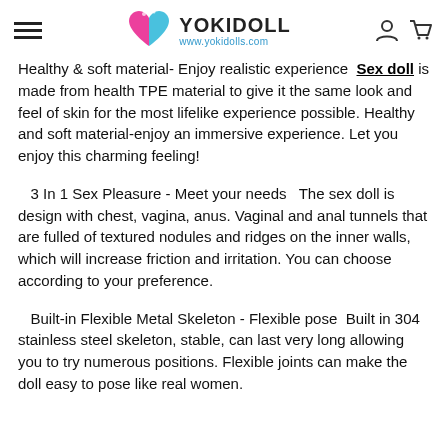YOKIDOLL www.yokidolls.com
Healthy & soft material- Enjoy realistic experience Sex doll is made from health TPE material to give it the same look and feel of skin for the most lifelike experience possible. Healthy and soft material-enjoy an immersive experience. Let you enjoy this charming feeling!
3 In 1 Sex Pleasure - Meet your needs  The sex doll is design with chest, vagina, anus. Vaginal and anal tunnels that are fulled of textured nodules and ridges on the inner walls, which will increase friction and irritation. You can choose according to your preference.
Built-in Flexible Metal Skeleton - Flexible pose  Built in 304 stainless steel skeleton, stable, can last very long allowing you to try numerous positions. Flexible joints can make the doll easy to pose like real women.